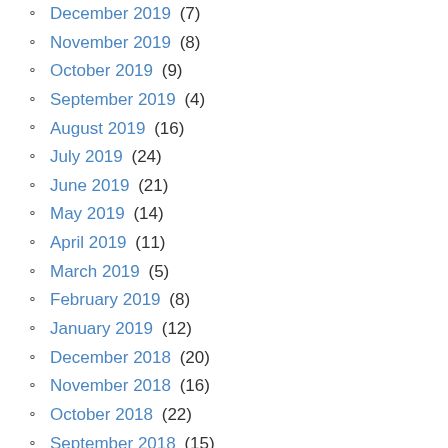December 2019 (7)
November 2019 (8)
October 2019 (9)
September 2019 (4)
August 2019 (16)
July 2019 (24)
June 2019 (21)
May 2019 (14)
April 2019 (11)
March 2019 (5)
February 2019 (8)
January 2019 (12)
December 2018 (20)
November 2018 (16)
October 2018 (22)
September 2018 (15)
August 2018 (18)
July 2018 (18)